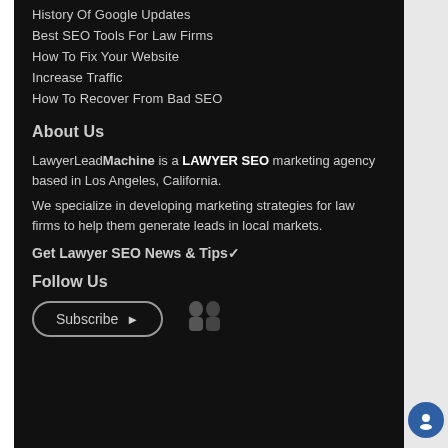History Of Google Updates
Best SEO Tools For Law Firms
How To Fix Your Website
Increase Traffic
How To Recover From Bad SEO
About Us
LawyerLeadMachine is a LAWYER SEO marketing agency based in Los Angeles, California.
We specialize in developing marketing strategies for law firms to help them generate leads in local markets.
Get Lawyer SEO News & Tips✓
Follow Us
Subscribe